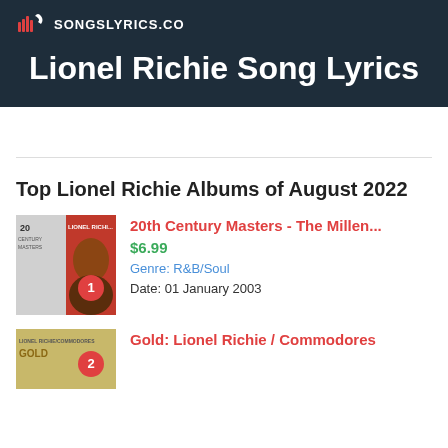SONGSLYRICS.CO
Lionel Richie Song Lyrics
Top Lionel Richie Albums of August 2022
1 20th Century Masters - The Millen... $6.99 Genre: R&B/Soul Date: 01 January 2003
2 Gold: Lionel Richie / Commodores